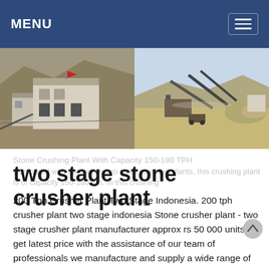MENU
[Figure (photo): Two side-by-side photos of stone crushing plant facilities. Left photo shows a multi-story industrial building structure at a quarry site. Right photo shows an open-air stone crusher and conveyor belt setup in a dry, desert-like landscape.]
two stage stone crusher plant
200 Tph Crusher Plant Two Stage Indonesia. 200 tph crusher plant two stage indonesia Stone crusher plant - two stage crusher plant manufacturer approx rs 50 000 units get latest price with the assistance of our team of professionals we manufacture and supply a wide range of 200 tph stone crushing plant the crusher plant is widely used in stone mining metallurgy industry building material ...